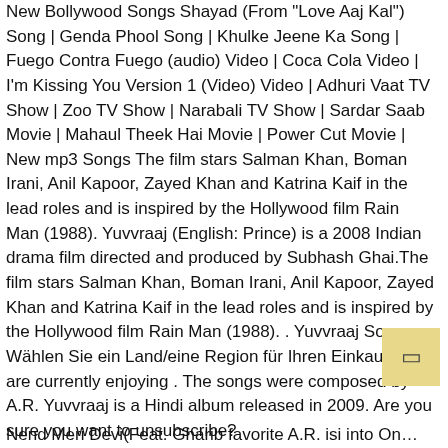New Bollywood Songs Shayad (From "Love Aaj Kal") Song | Genda Phool Song | Khulke Jeene Ka Song | Fuego Contra Fuego (audio) Video | Coca Cola Video | I'm Kissing You Version 1 (Video) Video | Adhuri Vaat TV Show | Zoo TV Show | Narabali TV Show | Sardar Saab Movie | Mahaul Theek Hai Movie | Power Cut Movie | New mp3 Songs The film stars Salman Khan, Boman Irani, Anil Kapoor, Zayed Khan and Katrina Kaif in the lead roles and is inspired by the Hollywood film Rain Man (1988). Yuvvraaj (English: Prince) is a 2008 Indian drama film directed and produced by Subhash Ghai.The film stars Salman Khan, Boman Irani, Anil Kapoor, Zayed Khan and Katrina Kaif in the lead roles and is inspired by the Hollywood film Rain Man (1988). . Yuvvraaj Songs. Wählen Sie ein Land/eine Region für Ihren Einkauf. You are currently enjoying . The songs were composed by A.R. Yuvvraaj is a Hindi album released in 2009. Are you sure you want to unsubscribe?
Nend Meri Devi(Feat. Gharib favorite A.R. isi into On…